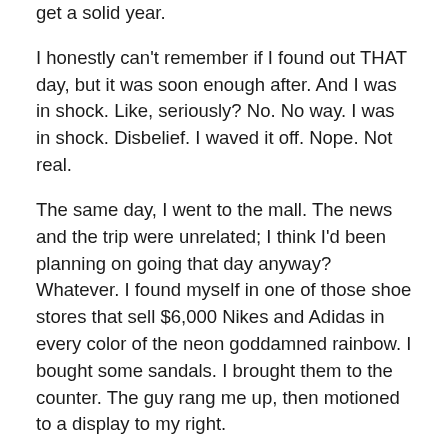get a solid year.
I honestly can't remember if I found out THAT day, but it was soon enough after. And I was in shock. Like, seriously? No. No way. I was in shock. Disbelief. I waved it off. Nope. Not real.
The same day, I went to the mall. The news and the trip were unrelated; I think I'd been planning on going that day anyway? Whatever. I found myself in one of those shoe stores that sell $6,000 Nikes and Adidas in every color of the neon goddamned rainbow. I bought some sandals. I brought them to the counter. The guy rang me up, then motioned to a display to my right.
“Do you want to buy a Livestrong bracelet for a dollar?”
And I froze. And I stopped breathing. And my heart